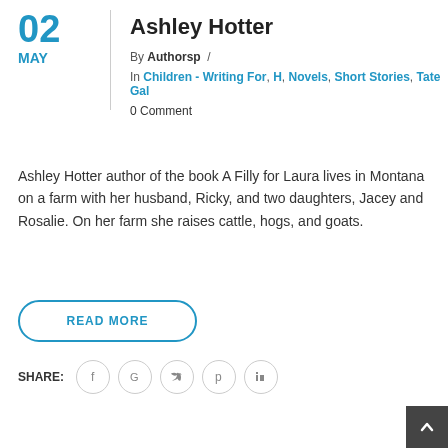02 MAY
Ashley Hotter
By Authorsp /
In Children - Writing For, H, Novels, Short Stories, Tate Gal
0 Comment
Ashley Hotter author of the book A Filly for Laura lives in Montana on a farm with her husband, Ricky, and two daughters, Jacey and Rosalie. On her farm she raises cattle, hogs, and goats.
READ MORE
SHARE: